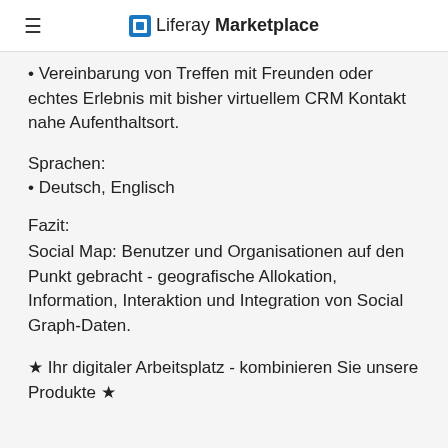Liferay Marketplace
• Vereinbarung von Treffen mit Freunden oder echtes Erlebnis mit bisher virtuellem CRM Kontakt nahe Aufenthaltsort.
Sprachen:
• Deutsch, Englisch
Fazit:
Social Map: Benutzer und Organisationen auf den Punkt gebracht - geografische Allokation, Information, Interaktion und Integration von Social Graph-Daten.
★ Ihr digitaler Arbeitsplatz - kombinieren Sie unsere Produkte ★